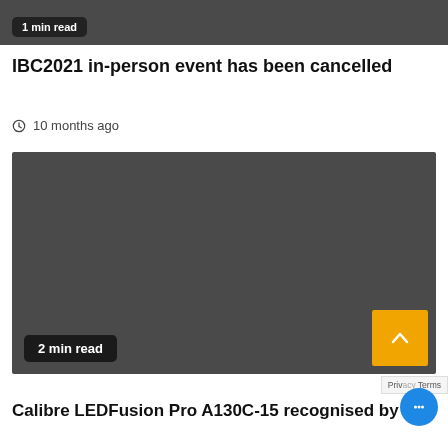[Figure (screenshot): Top of a dark image/card with a '1 min read' badge at bottom-left]
IBC2021 in-person event has been cancelled
10 months ago
[Figure (photo): Dark grey placeholder image with '2 min read' badge at bottom-left and a scroll-to-top arrow button at bottom-right]
Calibre LEDFusion Pro A130C-15 recognised by